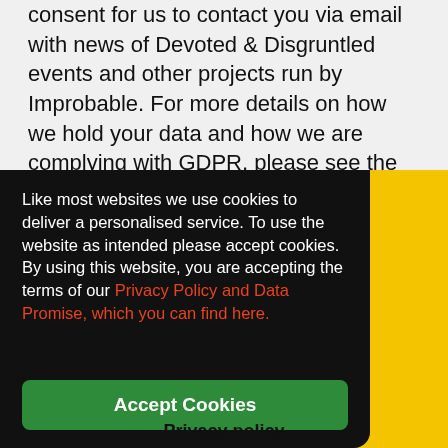consent for us to contact you via email with news of Devoted & Disgruntled events and other projects run by Improbable. For more details on how we hold your data and how we are complying with GDPR, please see the Privacy Policy.
Like most websites we use cookies to deliver a personalised service. To use the website as intended please accept cookies. By using this website, you are accepting the terms of our Privacy Policy and Data Promise, which you can find here.
Accept Cookies
Privacy policy